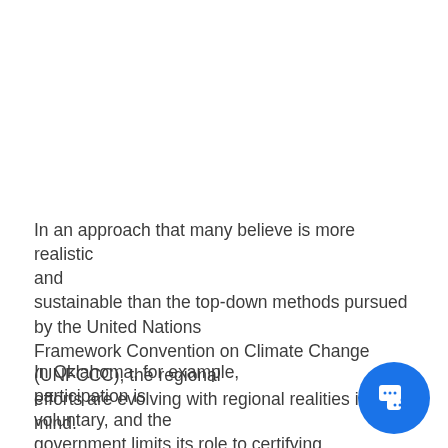In an approach that many believe is more realistic and sustainable than the top-down methods pursued by the United Nations Framework Convention on Climate Change (UNFCCC), the regional efforts are evolving with regional realities in mind.
In Oklahoma, for example, participation is voluntary, and the government limits its role to certifying the